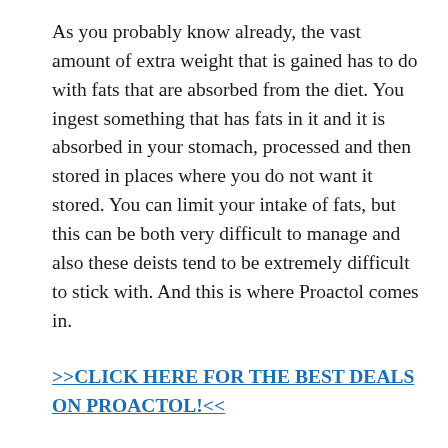As you probably know already, the vast amount of extra weight that is gained has to do with fats that are absorbed from the diet. You ingest something that has fats in it and it is absorbed in your stomach, processed and then stored in places where you do not want it stored. You can limit your intake of fats, but this can be both very difficult to manage and also these deists tend to be extremely difficult to stick with. And this is where Proactol comes in.
>>CLICK HERE FOR THE BEST DEALS ON PROACTOL!<<
Namely, with its particular